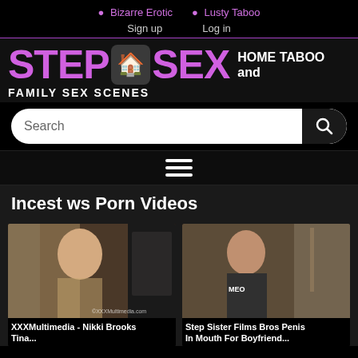Bizarre Erotic  Lusty Taboo  Sign up  Log in
[Figure (logo): StepSex logo with house icon, tagline HOME TABOO and FAMILY SEX SCENES]
Search
[Figure (infographic): Hamburger menu icon with three horizontal lines]
Incest ws Porn Videos
[Figure (photo): Video thumbnail 1 - woman with blonde hair]
XXXMultimedia - Nikki Brooks Tina...
[Figure (photo): Video thumbnail 2 - woman with dark hair on sofa]
Step Sister Films Bros Penis In Mouth For Boyfriend...